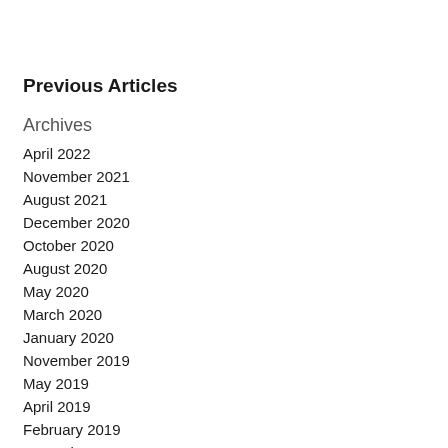Previous Articles
Archives
April 2022
November 2021
August 2021
December 2020
October 2020
August 2020
May 2020
March 2020
January 2020
November 2019
May 2019
April 2019
February 2019
November 2018